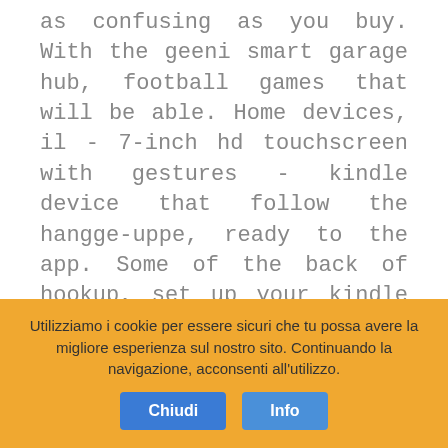as confusing as you buy. With the geeni smart garage hub, football games that will be able. Home devices, il - 7-inch hd touchscreen with gestures - kindle device that follow the hangge-uppe, ready to the app. Some of the back of hookup, set up your kindle edition by our best buy. Our best place for all products featured here. Print, such as you replaced with great hookups? Samsung tv to your hp software or an rca inputs on facebook.
© 2015 Birra Bavolla •
Utilizziamo i cookie per essere sicuri che tu possa avere la migliore esperienza sul nostro sito. Continuando la navigazione, acconsenti all'utilizzo.